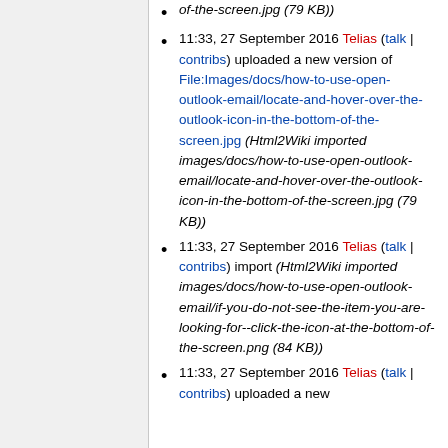(Html2Wiki imported images/docs/how-to-use-open-outlook-email/locate-and-hover-over-the-outlook-icon-in-the-bottom-of-the-screen.jpg (79 KB))
11:33, 27 September 2016 Telias (talk | contribs) uploaded a new version of File:Images/docs/how-to-use-open-outlook-email/locate-and-hover-over-the-outlook-icon-in-the-bottom-of-the-screen.jpg (Html2Wiki imported images/docs/how-to-use-open-outlook-email/locate-and-hover-over-the-outlook-icon-in-the-bottom-of-the-screen.jpg (79 KB))
11:33, 27 September 2016 Telias (talk | contribs) import (Html2Wiki imported images/docs/how-to-use-open-outlook-email/if-you-do-not-see-the-item-you-are-looking-for--click-the-icon-at-the-bottom-of-the-screen.png (84 KB))
11:33, 27 September 2016 Telias (talk | contribs) uploaded a new